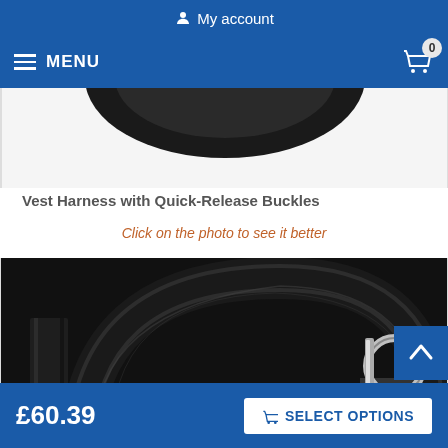My account
MENU
[Figure (photo): Close-up photo of a black vest harness showing a padded handle loop and a silver D-ring metal attachment on black nylon webbing]
Vest Harness with Quick-Release Buckles
Click on the photo to see it better
£60.39
SELECT OPTIONS